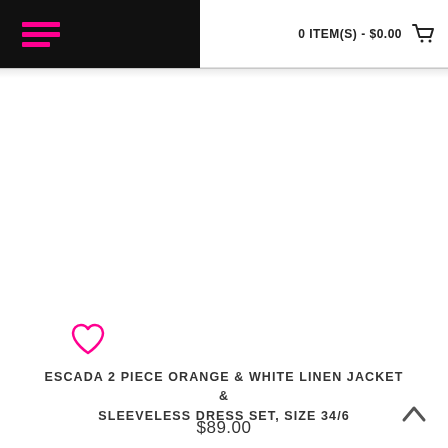0 ITEM(S) - $0.00
[Figure (illustration): Heart/wishlist icon in pink outline style]
ESCADA 2 PIECE ORANGE & WHITE LINEN JACKET & SLEEVELESS DRESS SET, SIZE 34/6
$89.00